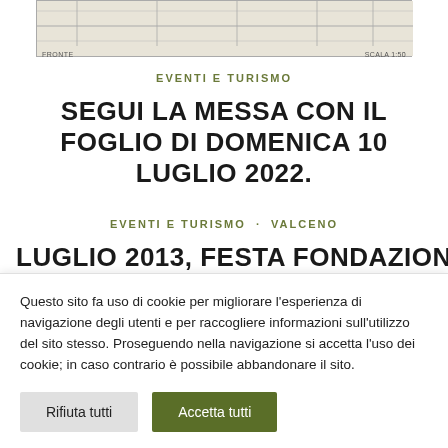[Figure (other): Top portion of a scanned architectural or engineering drawing showing a floor plan or elevation. Labels visible: 'FRONTE' on left, 'SCALA 1:50' on right.]
EVENTI E TURISMO
SEGUI LA MESSA CON IL FOGLIO DI DOMENICA 10 LUGLIO 2022.
EVENTI E TURISMO · VALCENO
LUGLIO 2013, FESTA FONDAZIONE BORE
Questo sito fa uso di cookie per migliorare l'esperienza di navigazione degli utenti e per raccogliere informazioni sull'utilizzo del sito stesso. Proseguendo nella navigazione si accetta l'uso dei cookie; in caso contrario è possibile abbandonare il sito.
Rifiuta tutti  Accetta tutti